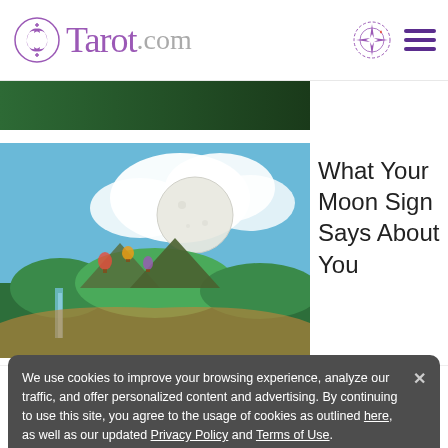Tarot.com
[Figure (photo): Hands holding a globe with clouds, moon, mountains, waterfalls and hot air balloons — surreal nature composite image]
What Your Moon Sign Says About You
We use cookies to improve your browsing experience, analyze our traffic, and offer personalized content and advertising. By continuing to use this site, you agree to the usage of cookies as outlined here, as well as our updated Privacy Policy and Terms of Use.
I Accept
Readings  Cards & Decks  Birth Chart  Psychic Advice